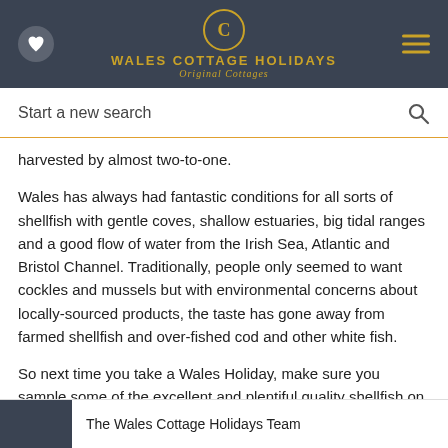WALES COTTAGE HOLIDAYS — Original Cottages
Start a new search
harvested by almost two-to-one.
Wales has always had fantastic conditions for all sorts of shellfish with gentle coves, shallow estuaries, big tidal ranges and a good flow of water from the Irish Sea, Atlantic and Bristol Channel. Traditionally, people only seemed to want cockles and mussels but with environmental concerns about locally-sourced products, the taste has gone away from farmed shellfish and over-fished cod and other white fish.
So next time you take a Wales Holiday, make sure you sample some of the excellent and plentiful quality shellfish on offer.
The Wales Cottage Holidays Team